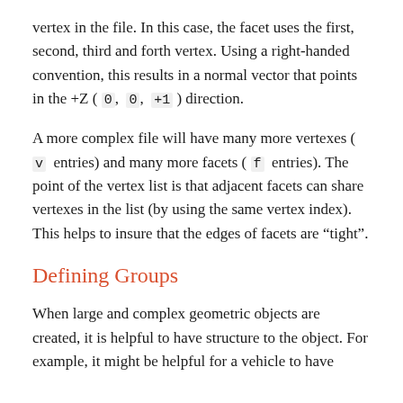vertex in the file. In this case, the facet uses the first, second, third and forth vertex. Using a right-handed convention, this results in a normal vector that points in the +Z ( 0,  0,  +1 ) direction.
A more complex file will have many more vertexes ( v  entries) and many more facets ( f  entries). The point of the vertex list is that adjacent facets can share vertexes in the list (by using the same vertex index). This helps to insure that the edges of facets are "tight".
Defining Groups
When large and complex geometric objects are created, it is helpful to have structure to the object. For example, it might be helpful for a vehicle to have